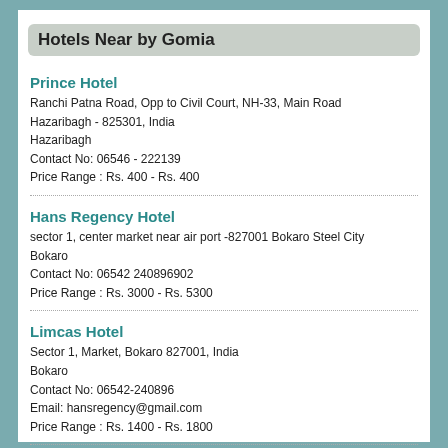Hotels Near by Gomia
Prince Hotel
Ranchi Patna Road, Opp to Civil Court, NH-33, Main Road Hazaribagh - 825301, India
Hazaribagh
Contact No: 06546 - 222139
Price Range : Rs. 400 - Rs. 400
Hans Regency Hotel
sector 1, center market near air port -827001 Bokaro Steel City
Bokaro
Contact No: 06542 240896902
Price Range : Rs. 3000 - Rs. 5300
Limcas Hotel
Sector 1, Market, Bokaro 827001, India
Bokaro
Contact No: 06542-240896
Email: hansregency@gmail.com
Price Range : Rs. 1400 - Rs. 1800
Upkar Hotel
Rockey Patna, Near DVC Chowk, Main Road Hazaribagh - 825301, India
Hazaribagh
Contact No: 06546 - 262246
Price Range : Rs. 400 - Rs. 1000